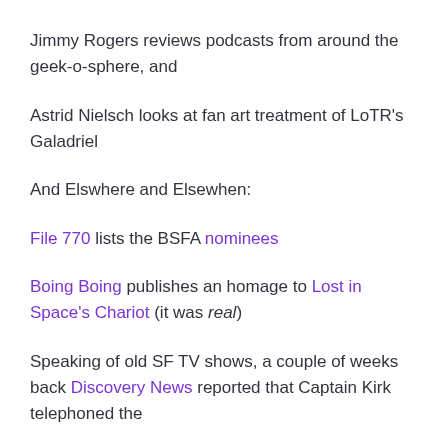Jimmy Rogers reviews podcasts from around the geek-o-sphere, and
Astrid Nielsch looks at fan art treatment of LoTR's Galadriel
And Elswhere and Elsewhen:
File 770 lists the BSFA nominees
Boing Boing publishes an homage to Lost in Space's Chariot (it was real)
Speaking of old SF TV shows, a couple of weeks back Discovery News reported that Captain Kirk telephoned the